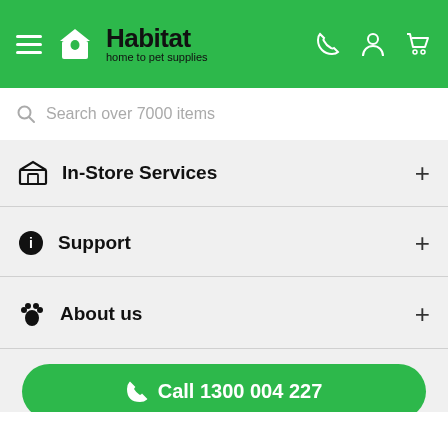Habitat – home to pet supplies
Search over 7000 items
In-Store Services
Support
About us
Call 1300 004 227
Facebook | Instagram | Live Chat